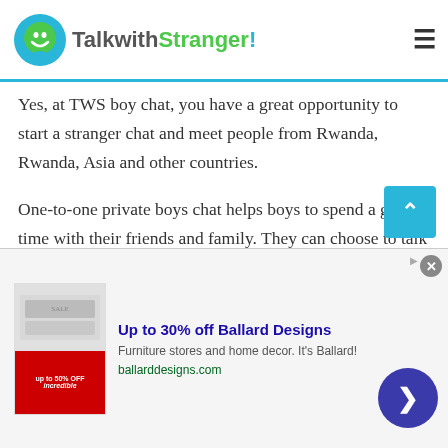TalkwithStranger!
Yes, at TWS boy chat, you have a great opportunity to start a stranger chat and meet people from Rwanda, Rwanda, Asia and other countries.
One-to-one private boys chat helps boys to spend a great time with their friends and family. They can choose to talk to strangers in Rwanda on their favorite topics and have a healthy discussion without experiencing any signup hassle. Yes, you will not experience any trouble while chatting online via boys chat. TWS always commits to make things easier for their users. So, why not join TWS free
[Figure (screenshot): Advertisement banner for Ballard Designs: Up to 30% off Ballard Designs, Furniture stores and home decor. It's Ballard!, ballarddesigns.com]